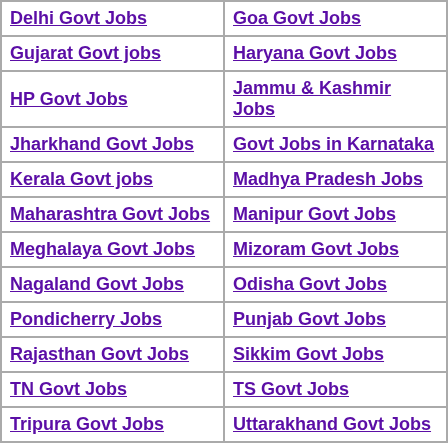| Column 1 | Column 2 |
| --- | --- |
| Delhi Govt Jobs | Goa Govt Jobs |
| Gujarat Govt jobs | Haryana Govt Jobs |
| HP Govt Jobs | Jammu & Kashmir Jobs |
| Jharkhand Govt Jobs | Govt Jobs in Karnataka |
| Kerala Govt jobs | Madhya Pradesh Jobs |
| Maharashtra Govt Jobs | Manipur Govt Jobs |
| Meghalaya Govt Jobs | Mizoram Govt Jobs |
| Nagaland Govt Jobs | Odisha Govt Jobs |
| Pondicherry Jobs | Punjab Govt Jobs |
| Rajasthan Govt Jobs | Sikkim Govt Jobs |
| TN Govt Jobs | TS Govt Jobs |
| Tripura Govt Jobs | Uttarakhand Govt Jobs |